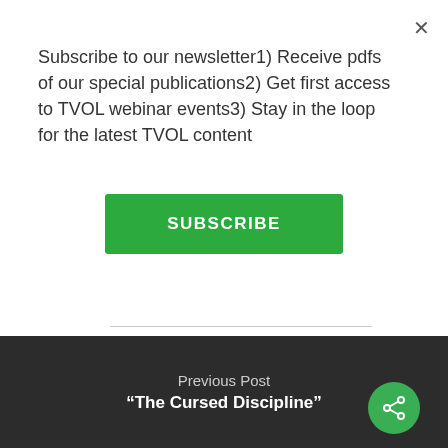Subscribe to our newsletter1) Receive pdfs of our special publications2) Get first access to TVOL webinar events3) Stay in the loop for the latest TVOL content
[Figure (other): Green SUBSCRIBE button]
Previous Post
“The Cursed Discipline”